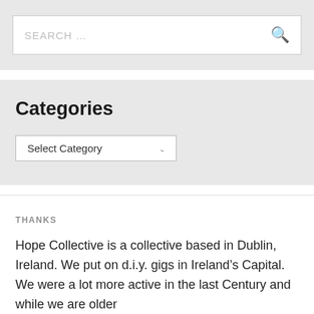[Figure (screenshot): Search bar widget with placeholder text 'SEARCH …' and a search magnifying glass icon on the right, on a light grey background.]
Categories
[Figure (screenshot): A dropdown/select box labelled 'Select Category' with a downward chevron arrow, inside a light grey widget box.]
THANKS
Hope Collective is a collective based in Dublin, Ireland. We put on d.i.y. gigs in Ireland's Capital.  We were a lot more active in the last Century and while we are older